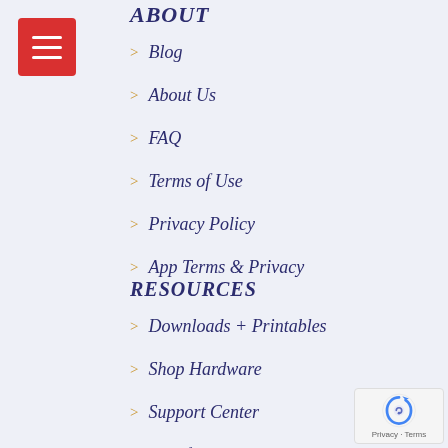ABOUT
Blog
About Us
FAQ
Terms of Use
Privacy Policy
App Terms & Privacy
RESOURCES
Downloads + Printables
Shop Hardware
Support Center
Tip of the Week